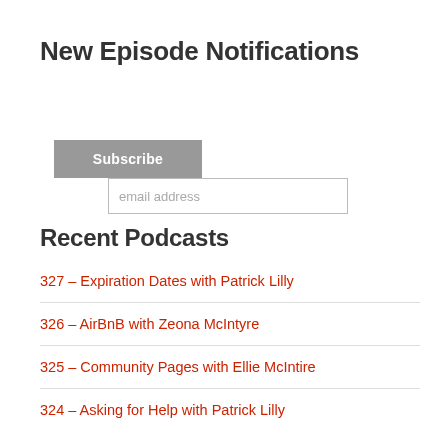New Episode Notifications
[Figure (other): Email subscription form with an email address input field and a Subscribe button]
Recent Podcasts
327 – Expiration Dates with Patrick Lilly
326 – AirBnB with Zeona McIntyre
325 – Community Pages with Ellie McIntire
324 – Asking for Help with Patrick Lilly